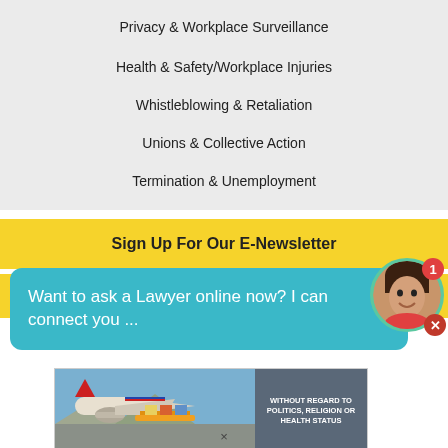Privacy & Workplace Surveillance
Health & Safety/Workplace Injuries
Whistleblowing & Retaliation
Unions & Collective Action
Termination & Unemployment
Sign Up For Our E-Newsletter
Join Free Attorney Database
Want to ask a Lawyer online now? I can connect you ...
[Figure (screenshot): Advertisement banner showing airplane cargo loading with text WITHOUT REGARD TO POLITICS, RELIGION OR HEALTH STATUS]
×